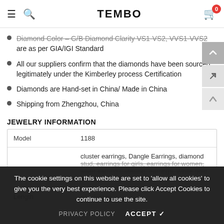TEMBO
Diamond Color – G/H Diamond Clarity VVS-VS2, VVS1-VVS2 are as per GIA/IGI Standard
All our suppliers confirm that the diamonds have been sourced legitimately under the Kimberley process Certification
Diamonds are Hand-set in China/ Made in China
Shipping from Zhengzhou, China
JEWELRY INFORMATION
|  |  |
| --- | --- |
| Model | 1188 |
|  | cluster earrings, Dangle Earrings, diamond stud, earrings for girls, earrings for women, silver earrings, sterling, earrings, White gold earrings |
| Length | ≤17.50mm |
The cookie settings on this website are set to 'allow all cookies' to give you the very best experience. Please click Accept Cookies to continue to use the site.
PRIVACY POLICY   ACCEPT ✔